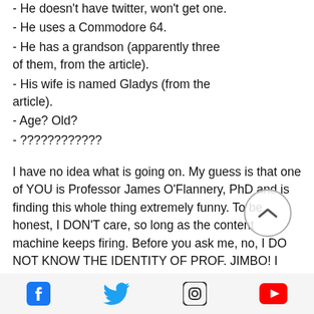- He doesn't have twitter, won't get one.
- He uses a Commodore 64.
- He has a grandson (apparently three of them, from the article).
- His wife is named Gladys (from the article).
- Age? Old?
- ????????????
I have no idea what is going on.  My guess is that one of YOU is Professor James O'Flannery, PhD and is finding this whole thing extremely funny.  To be honest, I DON'T care, so long as the content machine keeps firing.  Before you ask me, no, I DO NOT KNOW THE IDENTITY OF PROF. JIMBO!  I don't
Social media icons: Facebook, Twitter, Instagram, YouTube